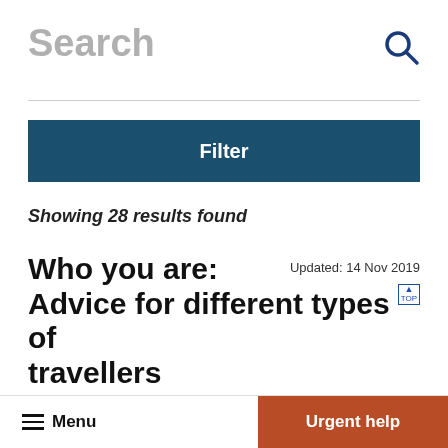Search
Showing 28 results found
Who you are: Advice for different types of travellers
Updated: 14 Nov 2019
In many countries age, gender and sexual
Menu   Urgent help